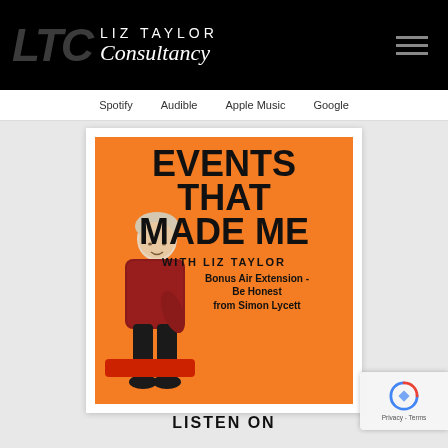[Figure (logo): LTC Liz Taylor Consultancy logo on black header bar with hamburger menu icon]
Spotify   Audible   Apple Music   Google
[Figure (photo): Podcast cover art: orange background with 'EVENTS THAT MADE ME with Liz Taylor - Bonus Air Extension - Be Honest from Simon Lycett' text and photo of woman sitting on red chair]
LISTEN ON